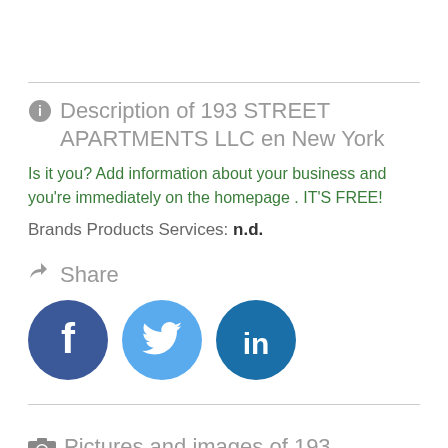Description of 193 STREET APARTMENTS LLC en New York
Is it you? Add information about your business and you're immediately on the homepage . IT'S FREE!
Brands Products Services: n.d.
Share
[Figure (infographic): Social media share buttons: Facebook (dark blue circle with f), Twitter (light blue circle with bird), LinkedIn (dark blue circle with in)]
Pictures and images of 193 STREET APARTMENTS LLC